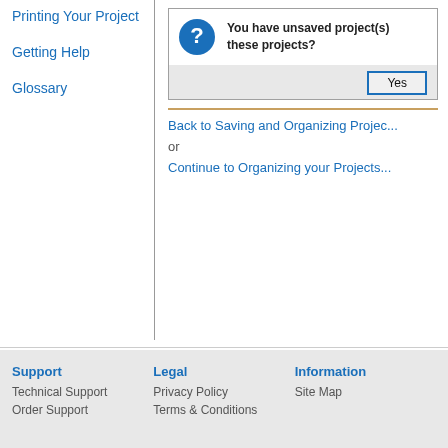Printing Your Project
Getting Help
Glossary
[Figure (screenshot): Dialog box with a blue question mark icon and text 'You have unsaved project(s) these projects?' with a 'Yes' button on a gray background]
Back to Saving and Organizing Projec...
or
Continue to Organizing your Projects...
Support | Technical Support | Order Support | Legal | Privacy Policy | Terms & Conditions | Information | Site Map